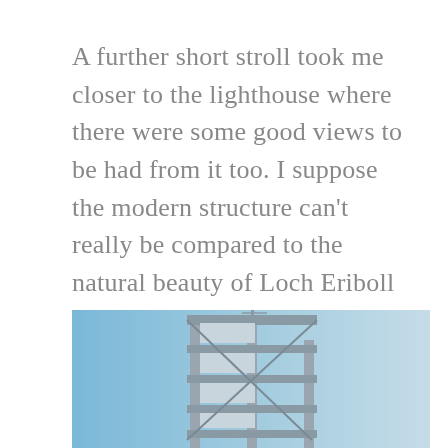A further short stroll took me closer to the lighthouse where there were some good views to be had from it too. I suppose the modern structure can't really be compared to the natural beauty of Loch Eriboll and the snow-capped hills on west side of the loch, but if I'd not been out there to see the lighthouse I'd never have seen the natural beauties on show there.
[Figure (photo): A photograph of a modern lighthouse structure against a blue sky, with the metal framework and tower visible.]